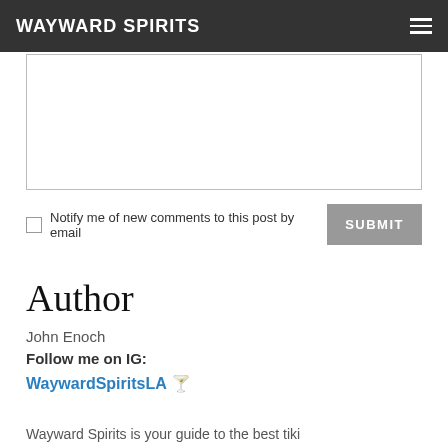WAYWARD SPIRITS
[Figure (other): Empty textarea input box for comment submission]
Notify me of new comments to this post by email  SUBMIT
Author
John Enoch
Follow me on IG:
WaywardSpiritsLA 🍸
Wayward Spirits is your guide to the best tiki